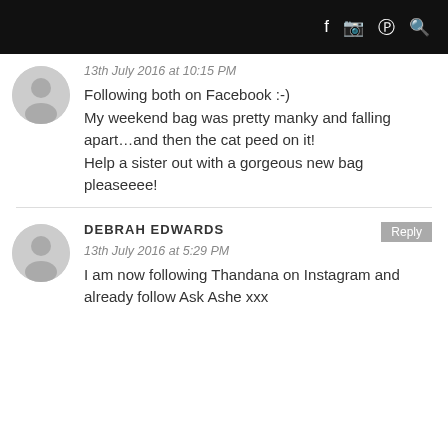Social media icons: Facebook, Instagram, Pinterest, Search
13th July 2016 at 10:15 PM
Following both on Facebook :-)
My weekend bag was pretty manky and falling apart…and then the cat peed on it!
Help a sister out with a gorgeous new bag pleaseeee!
DEBRAH EDWARDS
13th July 2016 at 5:29 PM
I am now following Thandana on Instagram and already follow Ask Ashe xxx